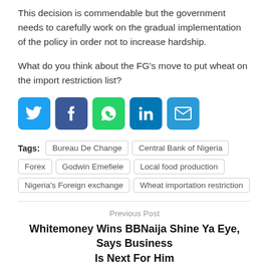This decision is commendable but the government needs to carefully work on the gradual implementation of the policy in order not to increase hardship.
What do you think about the FG's move to put wheat on the import restriction list?
[Figure (infographic): Social media share icons row: Twitter (blue), Facebook (dark blue), WhatsApp (green), LinkedIn (teal), Email (blue)]
Tags: Bureau De Change  Central Bank of Nigeria  Forex  Godwin Emefiele  Local food production  Nigeria's Foreign exchange  Wheat importation restriction
Previous Post
Whitemoney Wins BBNaija Shine Ya Eye, Says Business Is Next For Him